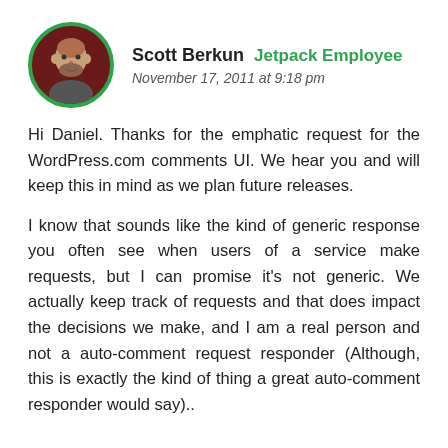Scott Berkun   Jetpack Employee
November 17, 2011 at 9:18 pm
Hi Daniel. Thanks for the emphatic request for the WordPress.com comments UI. We hear you and will keep this in mind as we plan future releases.

I know that sounds like the kind of generic response you often see when users of a service make requests, but I can promise it's not generic. We actually keep track of requests and that does impact the decisions we make, and I am a real person and not a auto-comment request responder (Although, this is exactly the kind of thing a great auto-comment responder would say)..